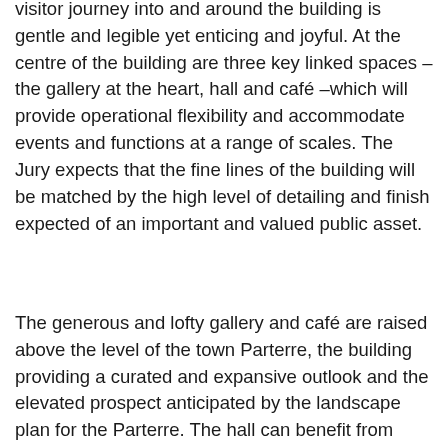visitor journey into and around the building is gentle and legible yet enticing and joyful. At the centre of the building are three key linked spaces –the gallery at the heart, hall and café –which will provide operational flexibility and accommodate events and functions at a range of scales. The Jury expects that the fine lines of the building will be matched by the high level of detailing and finish expected of an important and valued public asset.
The generous and lofty gallery and café are raised above the level of the town Parterre, the building providing a curated and expansive outlook and the elevated prospect anticipated by the landscape plan for the Parterre. The hall can benefit from controlled winter sun and the